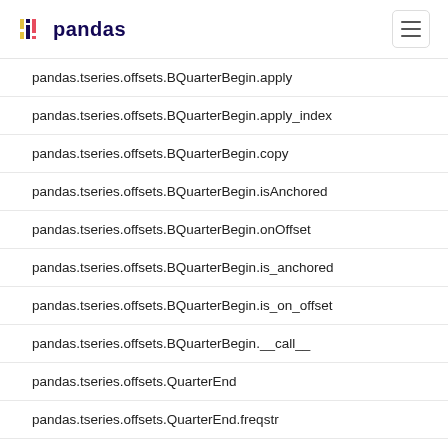pandas
pandas.tseries.offsets.BQuarterBegin.apply
pandas.tseries.offsets.BQuarterBegin.apply_index
pandas.tseries.offsets.BQuarterBegin.copy
pandas.tseries.offsets.BQuarterBegin.isAnchored
pandas.tseries.offsets.BQuarterBegin.onOffset
pandas.tseries.offsets.BQuarterBegin.is_anchored
pandas.tseries.offsets.BQuarterBegin.is_on_offset
pandas.tseries.offsets.BQuarterBegin.__call__
pandas.tseries.offsets.QuarterEnd
pandas.tseries.offsets.QuarterEnd.freqstr
pandas.tseries.offsets.QuarterEnd.kwds
pandas.tseries.offsets.QuarterEnd.name
pandas.tseries.offsets.QuarterEnd.nanos